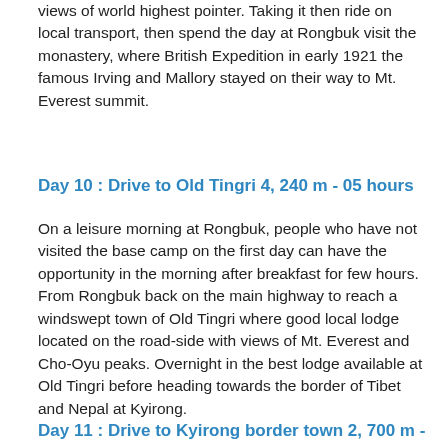views of world highest pointer. Taking it then ride on local transport, then spend the day at Rongbuk visit the monastery, where British Expedition in early 1921 the famous Irving and Mallory stayed on their way to Mt. Everest summit.
Day 10 : Drive to Old Tingri 4, 240 m - 05 hours
On a leisure morning at Rongbuk, people who have not visited the base camp on the first day can have the opportunity in the morning after breakfast for few hours. From Rongbuk back on the main highway to reach a windswept town of Old Tingri where good local lodge located on the road-side with views of Mt. Everest and Cho-Oyu peaks. Overnight in the best lodge available at Old Tingri before heading towards the border of Tibet and Nepal at Kyirong.
Day 11 : Drive to Kyirong border town 2, 700 m -